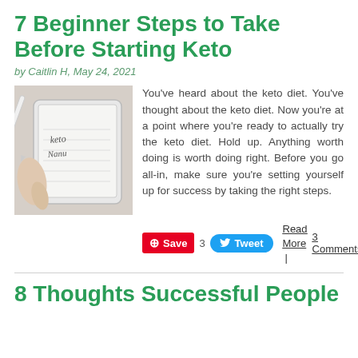7 Beginner Steps to Take Before Starting Keto
by Caitlin H, May 24, 2021
[Figure (photo): Hand holding a stylus writing on a digital tablet, with handwritten text visible on the screen]
You’ve heard about the keto diet. You’ve thought about the keto diet. Now you’re at a point where you’re ready to actually try the keto diet. Hold up. Anything worth doing is worth doing right. Before you go all-in, make sure you’re setting yourself up for success by taking the right steps.
Save | 3 Tweet | Read More | 3 Comments
8 Thoughts Successful People Have Concerning Nourishment